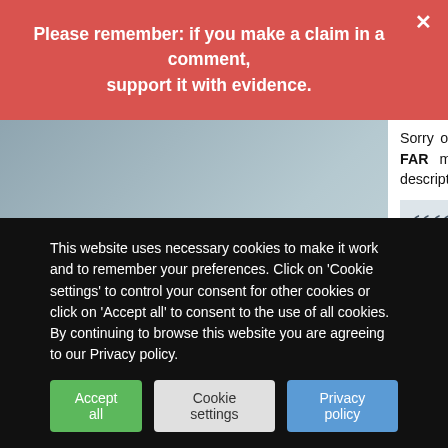Please remember: if you make a claim in a comment, support it with evidence.
Sorry old chap, but these hypotheses about consciousness and life have FAR more evidence going for them than homeopathy. In fact, my description of the process of life is exactly what science sees happening.
Saying that consciousness just “emerges” from a chemical soup is magical thinking
This website uses necessary cookies to make it work and to remember your preferences. Click on 'Cookie settings' to control your consent for other cookies or click on 'Accept all' to consent to the use of all cookies. By continuing to browse this website you are agreeing to our Privacy policy.
Accept all
Cookie settings
Privacy policy